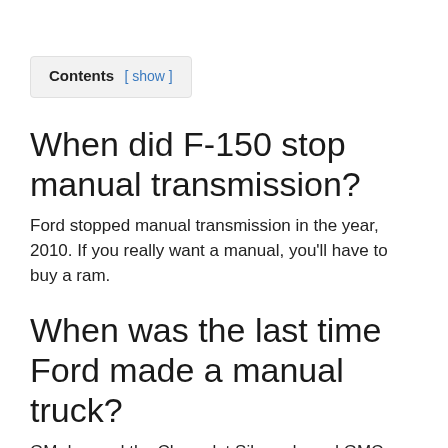Contents [ show ]
When did F-150 stop manual transmission?
Ford stopped manual transmission in the year, 2010. If you really want a manual, you'll have to buy a ram.
When was the last time Ford made a manual truck?
GM dropped the Chevrolet Silverado and GMC Sierra's manual transmission by 2008,